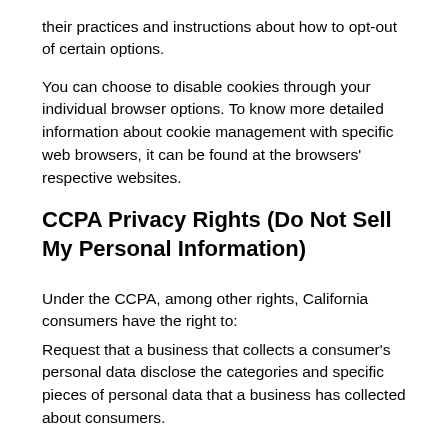their practices and instructions about how to opt-out of certain options.
You can choose to disable cookies through your individual browser options. To know more detailed information about cookie management with specific web browsers, it can be found at the browsers' respective websites.
CCPA Privacy Rights (Do Not Sell My Personal Information)
Under the CCPA, among other rights, California consumers have the right to:
Request that a business that collects a consumer's personal data disclose the categories and specific pieces of personal data that a business has collected about consumers.
Request that a business delete any personal data about the consumer that a business has collected.
Request that a business that sells a consumer's personal data, not sell the consumer's personal data.